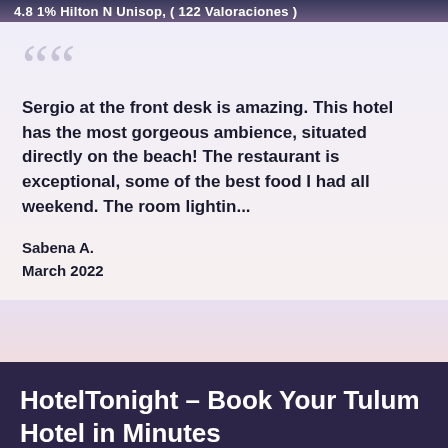4.8 1% Hilton N Unisop, ( 122 Valoraciones )
Sergio at the front desk is amazing. This hotel has the most gorgeous ambience, situated directly on the beach! The restaurant is exceptional, some of the best food I had all weekend. The room lightin...
Sabena A.
March 2022
HotelTonight – Book Your Tulum Hotel in Minutes
Tulum had been on my radar for a long time before I finally made it to this Mexican beach paradise.